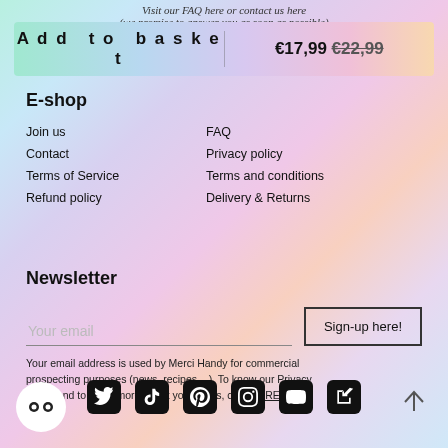Visit our FAQ here or contact us here
(we promise to answer you as soon as possible)
Add to basket   €17,99  €22,99
E-shop
Join us
Contact
Terms of Service
Refund policy
FAQ
Privacy policy
Terms and conditions
Delivery & Returns
Newsletter
Your email
Sign-up here!
Your email address is used by Merci Handy for commercial prospecting purposes (news, recipes ...). To know our Privacy Policy and to know more about your rights, click HERE
[Figure (infographic): Social media icons row: Twitter, TikTok, Pinterest, Instagram, YouTube, and one more icon in black rounded squares]